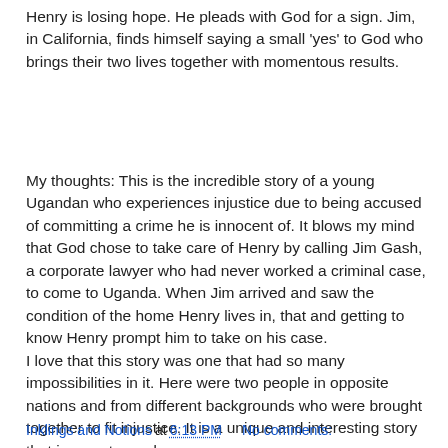Henry is losing hope. He pleads with God for a sign. Jim, in California, finds himself saying a small 'yes' to God who brings their two lives together with momentous results.
My thoughts: This is the incredible story of a young Ugandan who experiences injustice due to being accused of committing a crime he is innocent of. It blows my mind that God chose to take care of Henry by calling Jim Gash, a corporate lawyer who had never worked a criminal case, to come to Uganda. When Jim arrived and saw the condition of the home Henry lives in, that and getting to know Henry prompt him to take on his case.
I love that this story was one that had so many impossibilities in it. Here were two people in opposite nations and from different backgrounds who were brought together to fit injustice. It is a unique and interesting story that is easy to read.
I received this book from Worthy in exchange for my honest review.
Inklings and Notions at 6:13 PM    No comments: